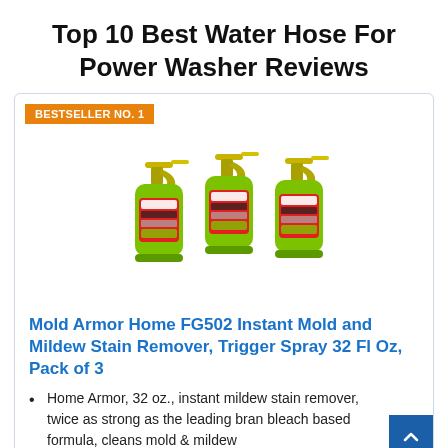Top 10 Best Water Hose For Power Washer Reviews
BESTSELLER NO. 1
[Figure (photo): Three green Mold Armor trigger spray bottles (32 Fl Oz each) shown side by side]
Mold Armor Home FG502 Instant Mold and Mildew Stain Remover, Trigger Spray 32 Fl Oz, Pack of 3
Home Armor, 32 oz., instant mildew stain remover, twice as strong as the leading bran bleach based formula, cleans mold & mildew